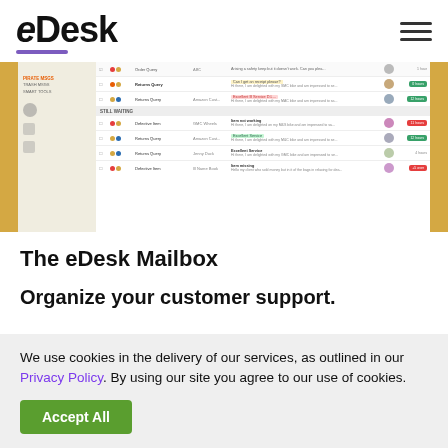eDesk
[Figure (screenshot): Screenshot of the eDesk mailbox interface showing email rows with sender names, message types, subjects, avatars, and time badges in a multi-column layout with yellow side panels]
The eDesk Mailbox
Organize your customer support.
We use cookies in the delivery of our services, as outlined in our Privacy Policy. By using our site you agree to our use of cookies.